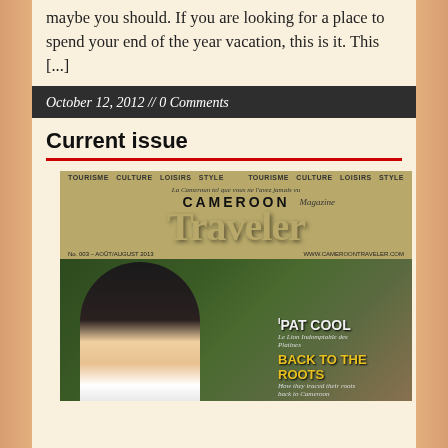maybe you should. If you are looking for a place to spend your end of the year vacation, this is it.  This [...]
October 12, 2012 // 0 Comments
Current issue
[Figure (photo): Magazine cover of Cameroon Traveler Magazine showing a young woman wearing a crown/tiara, with text overlays reading 'IPAT COOL - Le Lion Indomptable des Platines' and 'BACK TO THE ROOTS - How they traced their roots back to Cameroon'. Header bar reads 'TOURISME CULTURE LOISIRS STYLE'.]